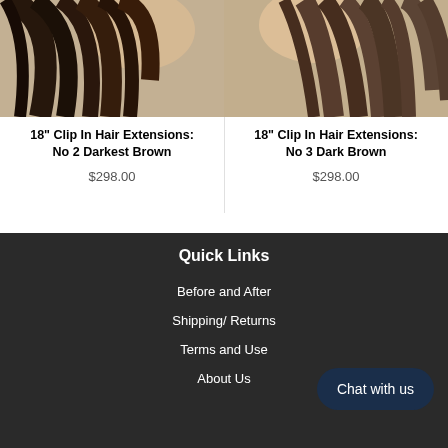[Figure (photo): Woman with dark brown straight hair extensions, back view]
18" Clip In Hair Extensions: No 2 Darkest Brown
$298.00
[Figure (photo): Woman with dark brown straight hair extensions, back view, lighter shade]
18" Clip In Hair Extensions: No 3 Dark Brown
$298.00
Quick Links
Before and After
Shipping/ Returns
Terms and Use
About Us
Chat with us